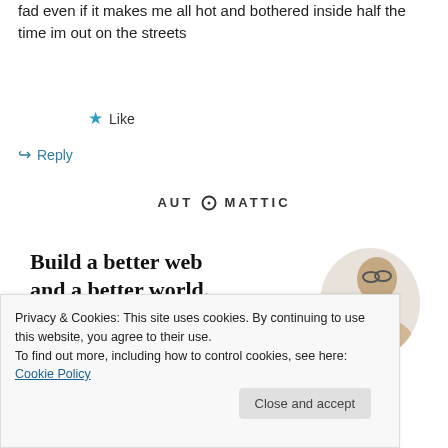fad even if it makes me all hot and bothered inside half the time im out on the streets
★ Like
↪ Reply
[Figure (logo): AUTOMATTIC logo with circular O in the middle]
[Figure (infographic): Automattic job ad: 'Build a better web and a better world.' with Apply button and photo of man thinking]
Privacy & Cookies: This site uses cookies. By continuing to use this website, you agree to their use.
To find out more, including how to control cookies, see here: Cookie Policy
Close and accept